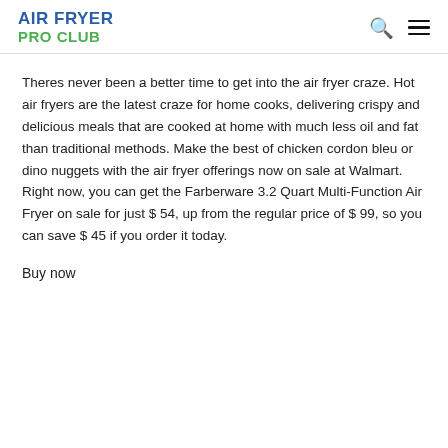AIR FRYER PRO CLUB
Theres never been a better time to get into the air fryer craze. Hot air fryers are the latest craze for home cooks, delivering crispy and delicious meals that are cooked at home with much less oil and fat than traditional methods. Make the best of chicken cordon bleu or dino nuggets with the air fryer offerings now on sale at Walmart. Right now, you can get the Farberware 3.2 Quart Multi-Function Air Fryer on sale for just $ 54, up from the regular price of $ 99, so you can save $ 45 if you order it today.
Buy now